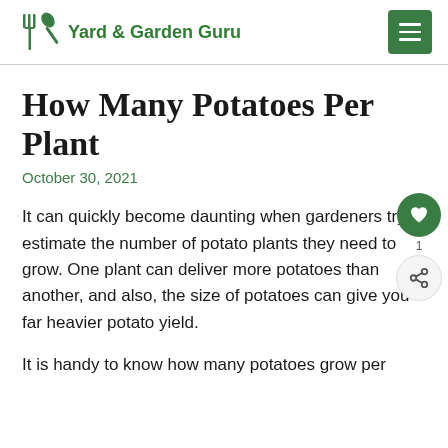Yard & Garden Guru
How Many Potatoes Per Plant
October 30, 2021
It can quickly become daunting when gardeners try to estimate the number of potato plants they need to grow. One plant can deliver more potatoes than another, and also, the size of potatoes can give you a far heavier potato yield.
It is handy to know how many potatoes grow per